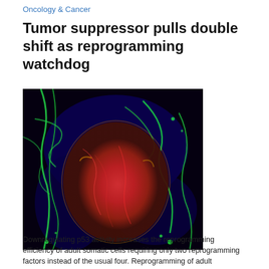Oncology & Cancer
Tumor suppressor pulls double shift as reprogramming watchdog
[Figure (photo): Fluorescence microscopy image of tumor tissue showing a large red-stained tumor mass surrounded by green-stained stromal/connective tissue and blue-stained regions, all on a dark background.]
Downregulating p53 activity increases the reprogramming efficiency of adult somatic cells requiring only two reprogramming factors instead of the usual four. Reprogramming of adult Drosophila gut stem cells is inhibited by p53 activity.